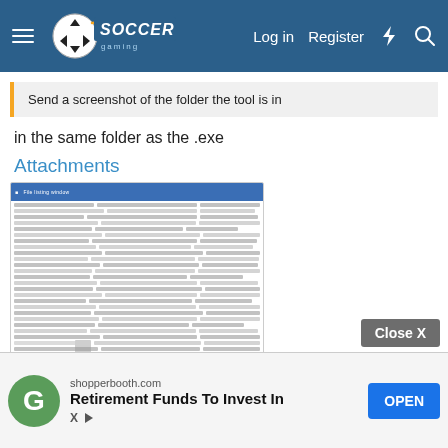[Figure (screenshot): Soccer Gaming forum navigation bar with logo, Log in, Register, lightning bolt icon, and search icon on a dark blue background]
Send a screenshot of the folder the tool is in
in the same folder as the .exe
Attachments
[Figure (screenshot): Blurry screenshot of a Windows file explorer or file listing window, showing multiple rows of files in a table layout with blue header. Filename shown below: aaswfawgagawg.jpg]
aaswfawgagawg.jpg
[Figure (screenshot): Advertisement banner: shopperbooth.com - Retirement Funds To Invest In, with OPEN button, G avatar, and Close X button]